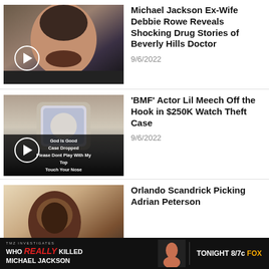[Figure (photo): Thumbnail of a man with mustache and goatee, video play button overlay]
Michael Jackson Ex-Wife Debbie Rowe Reveals Shocking Drug Stories of Beverly Hills Doctor
9/6/2022
[Figure (photo): Thumbnail of a diamond/jewel encrusted watch, video play button overlay, text overlay reading: God Is Good Case Dropped Please Dont Play With My Top Touch Your Nose]
'BMF' Actor Lil Meech Off the Hook in $250K Watch Theft Case
9/6/2022
[Figure (photo): Thumbnail of a man, video play button overlay]
Orlando Scandrick Picking Adrian Peterson
[Figure (infographic): TMZ Investigates ad banner: WHO REALLY KILLED MICHAEL JACKSON, TONIGHT 8/7c FOX]